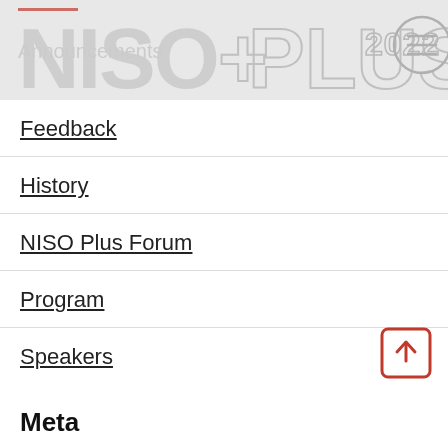NISO+PLUS 2022
Feedback
History
NISO Plus Forum
Program
Speakers
Meta